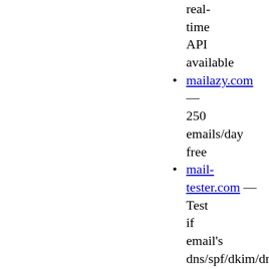real-time API available
mailazy.com — 250 emails/day free
mail-tester.com — Test if email's dns/spf/dkim/dmarc settings are correct, 20 free/month
mailboxlayer.com — Email validation and verification JSON